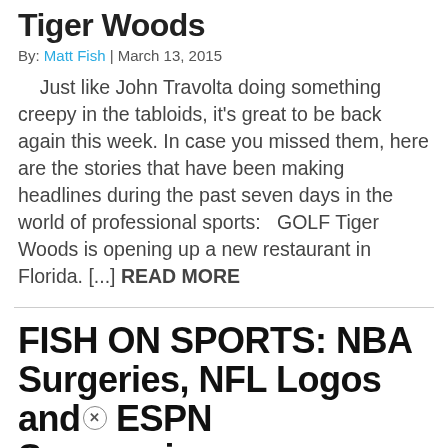Tiger Woods
By: Matt Fish | March 13, 2015
Just like John Travolta doing something creepy in the tabloids, it's great to be back again this week. In case you missed them, here are the stories that have been making headlines during the past seven days in the world of professional sports:   GOLF Tiger Woods is opening up a new restaurant in Florida. [...] READ MORE
FISH ON SPORTS: NBA Surgeries, NFL Logos and ESPN Suspensions
By: Matt Fish | February 27, 2015